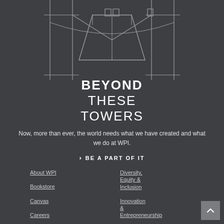[Figure (illustration): Line art illustration of two towers (WPI campus towers) on a dark grey background, rendered in white outline style]
BEYOND THESE TOWERS
Now, more than ever, the world needs what we have created and what we do at WPI.
BE A PART OF IT
About WPI
Bookstore
Canvas
Careers
Diversity, Equity & Inclusion
Innovation & Entrepreneurship
Library